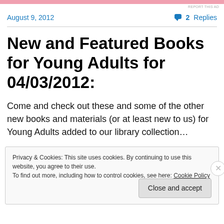REPORT THIS AD
August 9, 2012
💬 2 Replies
New and Featured Books for Young Adults for 04/03/2012:
Come and check out these and some of the other new books and materials (or at least new to us) for Young Adults added to our library collection…
Privacy & Cookies: This site uses cookies. By continuing to use this website, you agree to their use.
To find out more, including how to control cookies, see here: Cookie Policy
Close and accept